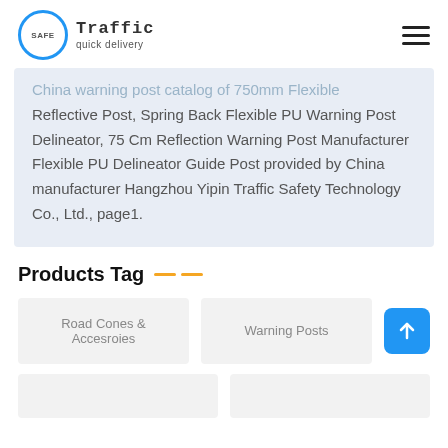SAFE Traffic quick delivery
China warning post catalog of 750mm Flexible Reflective Post, Spring Back Flexible PU Warning Post Delineator, 75 Cm Reflection Warning Post Manufacturer Flexible PU Delineator Guide Post provided by China manufacturer Hangzhou Yipin Traffic Safety Technology Co., Ltd., page1.
Products Tag
Road Cones & Accesroies
Warning Posts